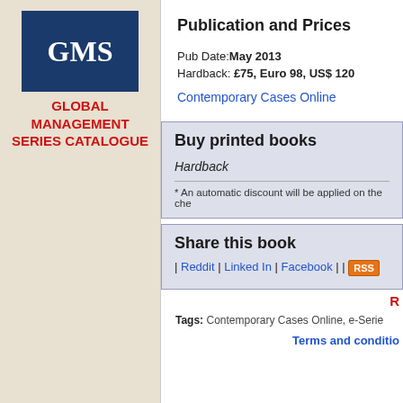[Figure (logo): GMS logo — white text 'GMS' on dark blue background]
GLOBAL MANAGEMENT SERIES CATALOGUE
Publication and Prices
Pub Date: May 2013
Hardback: £75, Euro 98, US$ 120
Contemporary Cases Online
Buy printed books
Hardback
* An automatic discount will be applied on the che
Share this book
| Reddit | Linked In | Facebook | |  RSS
R
Tags: Contemporary Cases Online, e-Serie
Terms and conditio